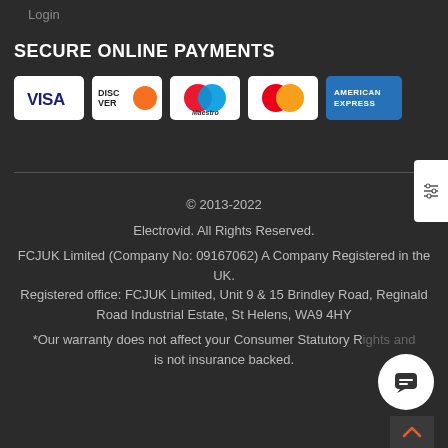Login
SECURE ONLINE PAYMENTS
[Figure (logo): Payment card logos: VISA, DISCOVER, Maestro, MasterCard, American Express]
© 2013-2022
Electrovid. All Rights Reserved.
FCJUK Limited (Company No: 09167062) A Company Registered in the UK.
Registered office: FCJUK Limited, Unit 9 & 15 Brindley Road, Reginald Road Industrial Estate, St Helens, WA9 4HY
*Our warranty does not affect your Consumer Statutory Rights and is not insurance backed.